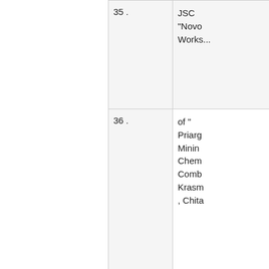| # | Name |
| --- | --- |
| 35 . | JSC "Novo Works... |
| 36 . | of " Priarg Mining Chem Comb Krasn , Chita |